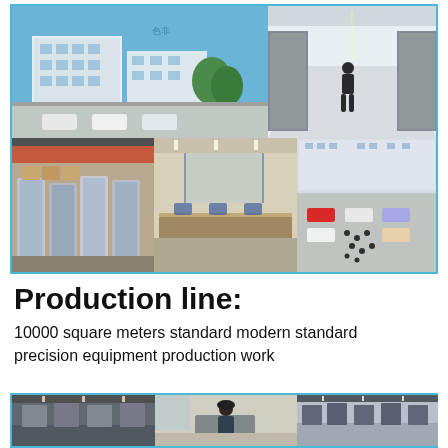[Figure (photo): 6-panel photo collage in a light blue bordered frame showing: top-left - exterior of a multi-story factory/office building with parked cars; top-right - interior corridor with industrial equipment/machines; bottom-left - warehouse storage area with packaged products; bottom-center - open office or showroom interior; bottom-right - aerial view of a factory courtyard with cars and people.]
Production line:
10000 square meters standard modern standard precision equipment production work
[Figure (photo): 3-panel photo collage in a light blue bordered frame showing factory production floor interiors with workers and industrial equipment.]